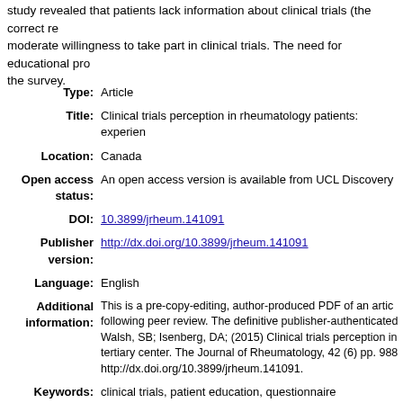study revealed that patients lack information about clinical trials (the correct re moderate willingness to take part in clinical trials. The need for educational pro the survey.
| Field | Value |
| --- | --- |
| Type: | Article |
| Title: | Clinical trials perception in rheumatology patients: experien |
| Location: | Canada |
| Open access status: | An open access version is available from UCL Discovery |
| DOI: | 10.3899/jrheum.141091 |
| Publisher version: | http://dx.doi.org/10.3899/jrheum.141091 |
| Language: | English |
| Additional information: | This is a pre-copy-editing, author-produced PDF of an artic following peer review. The definitive publisher-authenticated Walsh, SB; Isenberg, DA; (2015) Clinical trials perception in tertiary center. The Journal of Rheumatology, 42 (6) pp. 988 http://dx.doi.org/10.3899/jrheum.141091. |
| Keywords: | clinical trials, patient education, questionnaire |
| UCL | UCL
UCL > Provost and Vice Provost Offices > School of Life an
UCL > Provost and Vice Provost Offices > School of Life an
UCL > Provost and Vice Provost Offices > School of Life an Medicine
UCL > Provost and Vice Provost Offices > School of Life an Medicine > Inflammation |